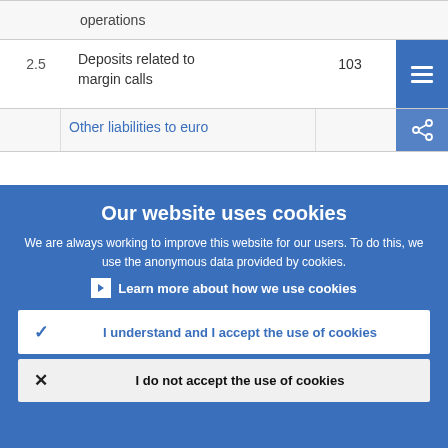|  | operations |  |  |
| 2.5 | Deposits related to margin calls | 103 |  |
|  | Other liabilities to euro |  |  |
Our website uses cookies
We are always working to improve this website for our users. To do this, we use the anonymous data provided by cookies.
Learn more about how we use cookies
I understand and I accept the use of cookies
I do not accept the use of cookies